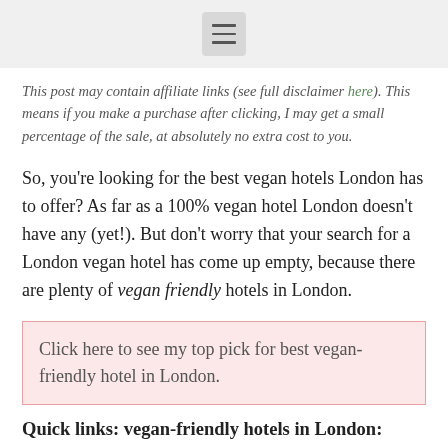☰
This post may contain affiliate links (see full disclaimer here). This means if you make a purchase after clicking, I may get a small percentage of the sale, at absolutely no extra cost to you.
So, you're looking for the best vegan hotels London has to offer? As far as a 100% vegan hotel London doesn't have any (yet!). But don't worry that your search for a London vegan hotel has come up empty, because there are plenty of vegan friendly hotels in London.
Click here to see my top pick for best vegan-friendly hotel in London.
Quick links: vegan-friendly hotels in London: